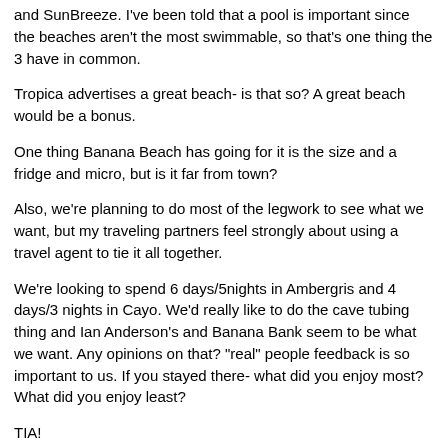and SunBreeze. I've been told that a pool is important since the beaches aren't the most swimmable, so that's one thing the 3 have in common.
Tropica advertises a great beach- is that so? A great beach would be a bonus.
One thing Banana Beach has going for it is the size and a fridge and micro, but is it far from town?
Also, we're planning to do most of the legwork to see what we want, but my traveling partners feel strongly about using a travel agent to tie it all together.
We're looking to spend 6 days/5nights in Ambergris and 4 days/3 nights in Cayo. We'd really like to do the cave tubing thing and Ian Anderson's and Banana Bank seem to be what we want. Any opinions on that? "real" people feedback is so important to us. If you stayed there- what did you enjoy most? What did you enjoy least?
TIA!
gidget